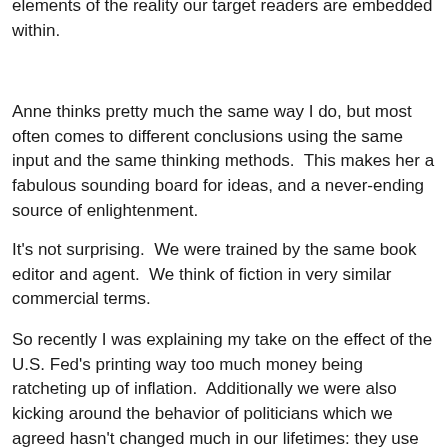elements of the reality our target readers are embedded within.
Anne thinks pretty much the same way I do, but most often comes to different conclusions using the same input and the same thinking methods.  This makes her a fabulous sounding board for ideas, and a never-ending source of enlightenment.
It's not surprising.  We were trained by the same book editor and agent.  We think of fiction in very similar commercial terms.
So recently I was explaining my take on the effect of the U.S. Fed's printing way too much money being ratcheting up of inflation.  Additionally we were also kicking around the behavior of politicians which we agreed hasn't changed much in our lifetimes: they use many methods to avoid conveying the truth to their constituents.
Both of these ongoing conversations with Anne were in progress during the days that I was reading the latest novel